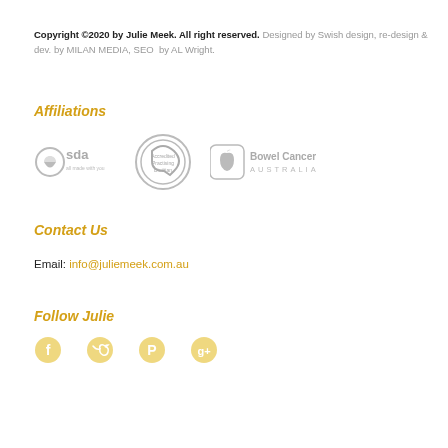Copyright ©2020 by Julie Meek. All right reserved. Designed by Swish design, re-design & dev. by MILAN MEDIA, SEO by AL Wright.
Affiliations
[Figure (logo): Three affiliation logos in grayscale: SDA (Services for Disabled Australia), Accredited Practising Dietitian, Bowel Cancer Australia]
Contact Us
Email: info@juliemeek.com.au
Follow Julie
[Figure (illustration): Four social media icons in gold/yellow: Facebook, Twitter, Pinterest, Google+]